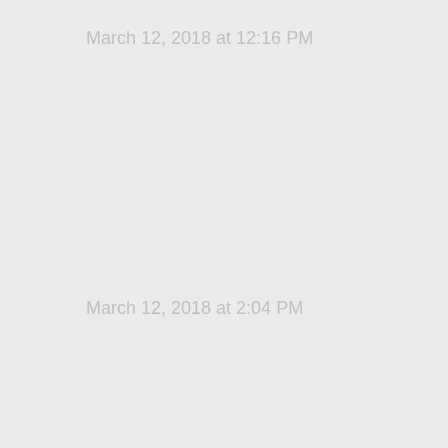March 12, 2018 at 12:16 PM
March 12, 2018 at 2:04 PM